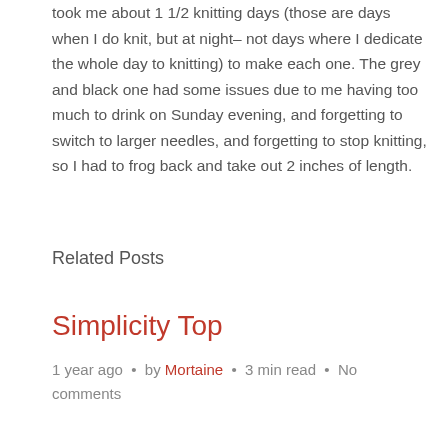took me about 1 1/2 knitting days (those are days when I do knit, but at night– not days where I dedicate the whole day to knitting) to make each one. The grey and black one had some issues due to me having too much to drink on Sunday evening, and forgetting to switch to larger needles, and forgetting to stop knitting, so I had to frog back and take out 2 inches of length.
Related Posts
Simplicity Top
1 year ago  •  by Mortaine  •  3 min read  •  No comments